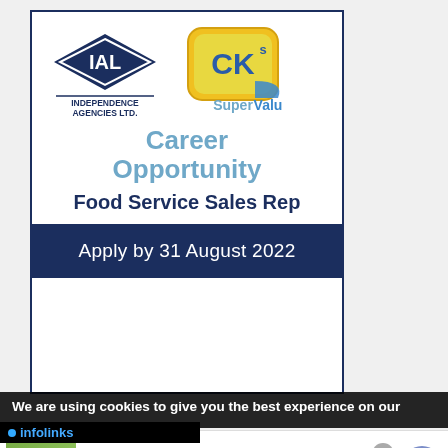[Figure (logo): IAL Independence Agencies Ltd. logo (dark blue diamond with IAL text) and CK's SuperValu logo (yellow-green speech bubble with CK's text and SuperValu below)]
Career Opportunity
Food Service Sales Rep
Apply by 31 August 2022
We are using cookies to give you the best experience on our
infolinks
Wayfair.com - Online Home Store Sale!
Shop for A Zillion Things Home across all styles at Wayfair!
www.wayfair.com